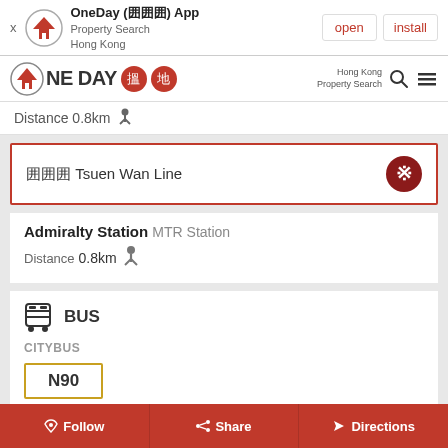[Figure (screenshot): App install banner for OneDay App - Property Search Hong Kong, with open and install buttons]
[Figure (logo): OneDay 搵地 Property Search Hong Kong logo with navigation bar]
Distance 0.8km
囲囲囲 Tsuen Wan Line
Admiralty Station MTR Station
Distance 0.8km
BUS
CITYBUS
N90
Follow  Share  Directions